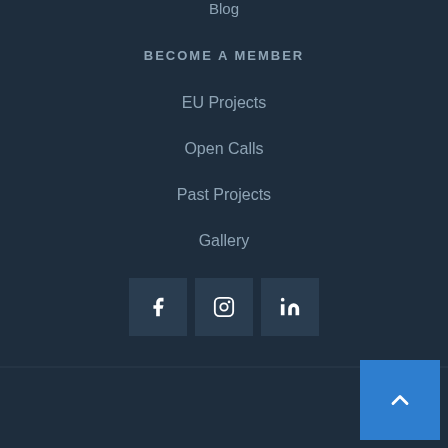Blog
BECOME A MEMBER
EU Projects
Open Calls
Past Projects
Gallery
Contact
[Figure (other): Social media icon buttons for Facebook, Instagram, and LinkedIn]
Back to top button